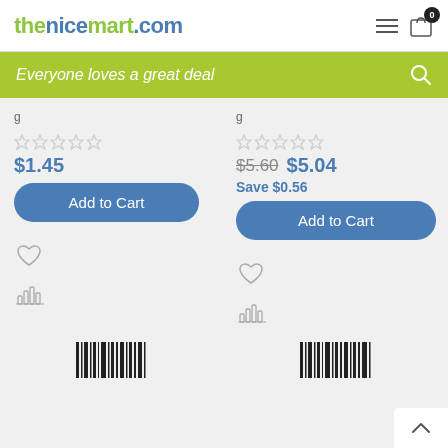thenicemart.com
Everyone loves a great deal
$1.45
Add to Cart
$5.60  $5.04  Save $0.56
Add to Cart